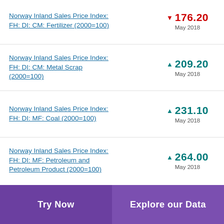Norway Inland Sales Price Index: FH: DI: CM: Fertilizer (2000=100) ▼ 176.20 May 2018
Norway Inland Sales Price Index: FH: DI: CM: Metal Scrap (2000=100) ▲ 209.20 May 2018
Norway Inland Sales Price Index: FH: DI: MF: Coal (2000=100) ▲ 231.10 May 2018
Norway Inland Sales Price Index: FH: DI: MF: Petroleum and Petroleum Product (2000=100) ▲ 264.00 May 2018
Try Now | Explore our Data